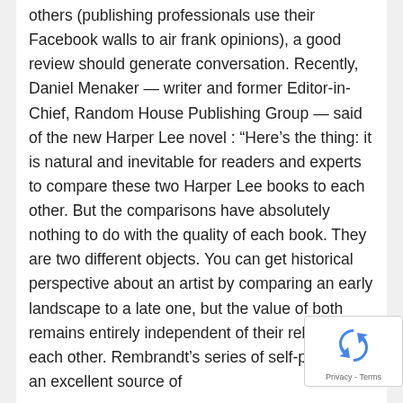others (publishing professionals use their Facebook walls to air frank opinions), a good review should generate conversation. Recently, Daniel Menaker — writer and former Editor-in-Chief, Random House Publishing Group — said of the new Harper Lee novel : “Here’s the thing: it is natural and inevitable for readers and experts to compare these two Harper Lee books to each other. But the comparisons have absolutely nothing to do with the quality of each book. They are two different objects. You can get historical perspective about an artist by comparing an early landscape to a late one, but the value of both remains entirely independent of their relation to each other. Rembrandt’s series of self-portraits is an excellent source of
[Figure (other): reCAPTCHA privacy badge with circular arrow logo and 'Privacy - Terms' text]